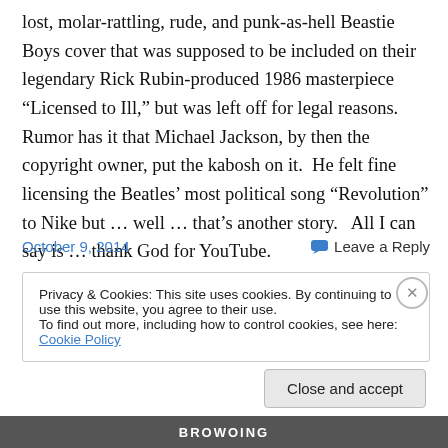lost, molar-rattling, rude, and punk-as-hell Beastie Boys cover that was supposed to be included on their legendary Rick Rubin-produced 1986 masterpiece “Licensed to Ill,” but was left off for legal reasons.   Rumor has it that Michael Jackson, by then the copyright owner, put the kabosh on it.  He felt fine licensing the Beatles’ most political song “Revolution” to Nike but … well … that’s another story.   All I can say is … thank God for YouTube.
October 9, 2014
Leave a Reply
Privacy & Cookies: This site uses cookies. By continuing to use this website, you agree to their use.
To find out more, including how to control cookies, see here: Cookie Policy
Close and accept